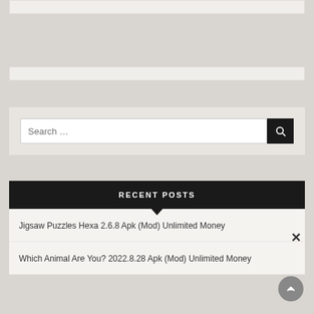[Figure (screenshot): Top white/light bar at the top of the page]
[Figure (screenshot): Mid white/light bar]
[Figure (screenshot): Search bar with text 'Search ...' and dark search button with magnifying glass icon]
RECENT POSTS
Jigsaw Puzzles Hexa 2.6.8 Apk (Mod) Unlimited Money
Which Animal Are You? 2022.8.28 Apk (Mod) Unlimited Money
[Figure (screenshot): Close (X) button and scroll-to-top circular arrow button]